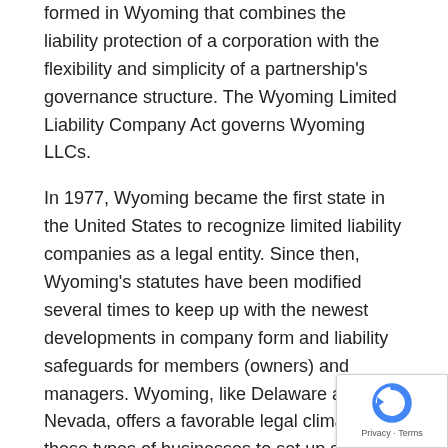formed in Wyoming that combines the liability protection of a corporation with the flexibility and simplicity of a partnership's governance structure. The Wyoming Limited Liability Company Act governs Wyoming LLCs.
In 1977, Wyoming became the first state in the United States to recognize limited liability companies as a legal entity. Since then, Wyoming's statutes have been modified several times to keep up with the newest developments in company form and liability safeguards for members (owners) and managers. Wyoming, like Delaware and Nevada, offers a favorable legal climate for these types of businesses to set up shop.
Why Form An LLC In Wyoming?
There are numerous advantages to forming an LLC in